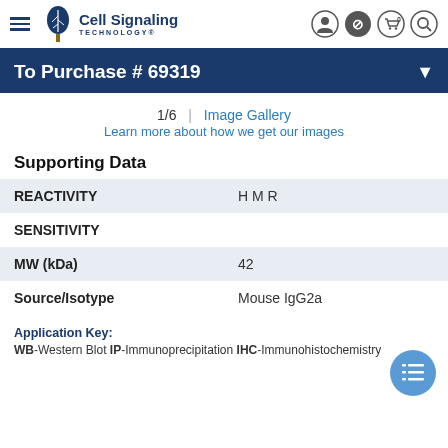Cell Signaling Technology
To Purchase # 69319
1/6 | Image Gallery
Learn more about how we get our images
Supporting Data
| Field | Value |
| --- | --- |
| REACTIVITY | H M R |
| SENSITIVITY |  |
| MW (kDa) | 42 |
| Source/Isotype | Mouse IgG2a |
Application Key:
WB-Western Blot IP-Immunoprecipitation IHC-Immunohistochemistry